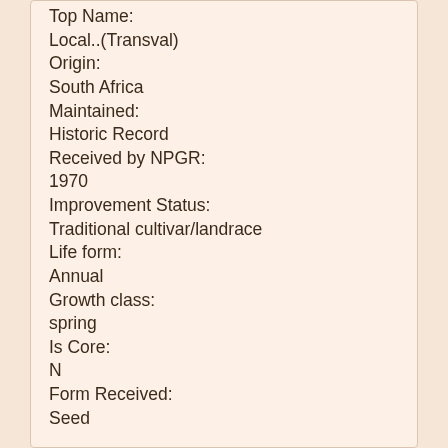Top Name:
Local..(Transval)
Origin:
South Africa
Maintained:
Historic Record
Received by NPGR:
1970
Improvement Status:
Traditional cultivar/landrace
Life form:
Annual
Growth class:
spring
Is Core:
N
Form Received:
Seed